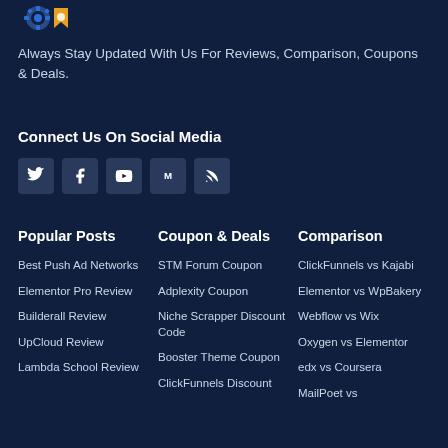[Figure (logo): Gear/cog logo icon in blue and orange]
Always Stay Updated With Us For Reviews, Comparison, Coupons & Deals.
Connect Us On Social Media
[Figure (infographic): Social media icons: Twitter, Facebook, YouTube, Medium, RSS]
Popular Posts
Best Push Ad Networks
Elementor Pro Review
Builderall Review
UpCloud Review
Lambda School Review
Coupon & Deals
STM Forum Coupon
Adplexity Coupon
Niche Scrapper Discount Code
Booster Theme Coupon
ClickFunnels Discount
Comparison
ClickFunnels vs Kajabi
Elementor vs WpBakery
Webflow vs Wix
Oxygen vs Elementor
edx vs Coursera
MailPoet vs